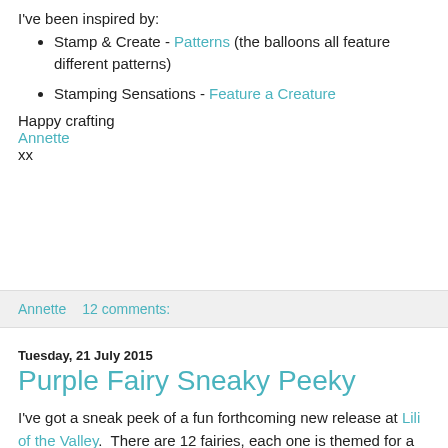I've been inspired by:
Stamp & Create - Patterns (the balloons all feature different patterns)
Stamping Sensations - Feature a Creature
Happy crafting
Annette
xx
Annette   12 comments:
Tuesday, 21 July 2015
Purple Fairy Sneaky Peeky
I've got a sneak peek of a fun forthcoming new release at Lili of the Valley.  There are 12 fairies, each one is themed for a different month of the year, and if that's not enough to tickle